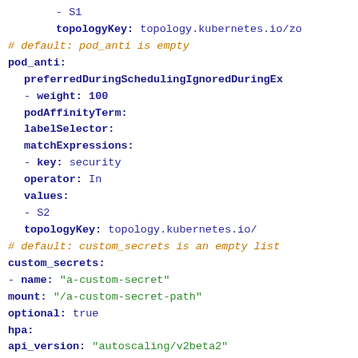- S1
    topologyKey: topology.kubernetes.io/zo
# default: pod_anti is empty
pod_anti:
  preferredDuringSchedulingIgnoredDuringEx
  - weight: 100
    podAffinityTerm:
      labelSelector:
        matchExpressions:
          - key: security
            operator: In
            values:
            - S2
        topologyKey: topology.kubernetes.io/
# default: custom_secrets is an empty list
custom_secrets:
- name: "a-custom-secret"
  mount: "/a-custom-secret-path"
  optional: true
hpa:
  api_version: "autoscaling/v2beta2"
  # default: spec is empty